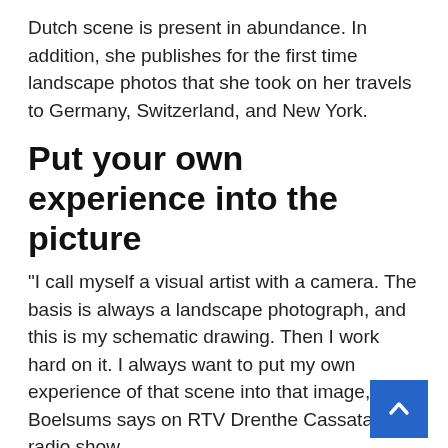Dutch scene is present in abundance. In addition, she publishes for the first time landscape photos that she took on her travels to Germany, Switzerland, and New York.
Put your own experience into the picture
“I call myself a visual artist with a camera. The basis is always a landscape photograph, and this is my schematic drawing. Then I work hard on it. I always want to put my own experience of that scene into that image,” Boelsums says on RTV Drenthe Cassata radio show.
[Figure (other): Back to top arrow button, blue square with white upward chevron arrow]